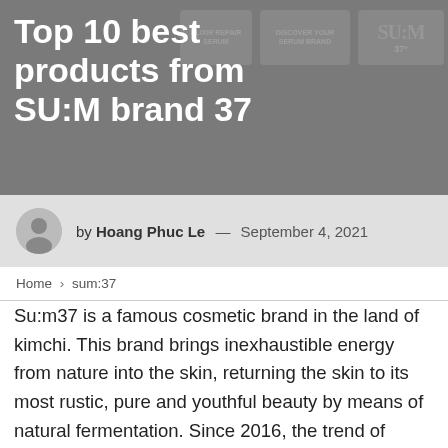Top 10 best products from SU:M brand 37
by Hoang Phuc Le — September 4, 2021
Home > sum:37
Su:m37 is a famous cosmetic brand in the land of kimchi. This brand brings inexhaustible energy from nature into the skin, returning the skin to its most rustic, pure and youthful beauty by means of natural fermentation. Since 2016, the trend of using naturally fermented cosmetics has started to explode, although it has only appeared in recent years, it has created a craze not only in Korea but also in Vietnam with many magical uses that make it easy to use. Consumers are full of praise and satisfaction. Let's learn about the best products of Sum 37 with Toplist the page